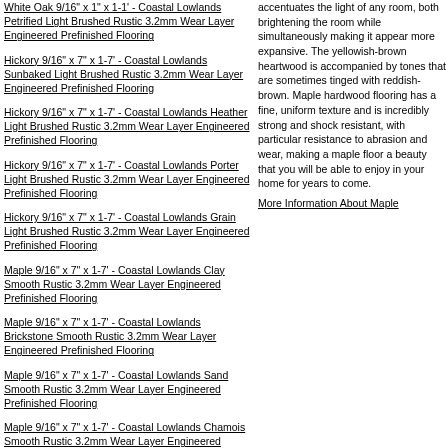White Oak 9/16" x 1" x 1-1' - Coastal Lowlands Petrified Light Brushed Rustic 3.2mm Wear Layer Engineered Prefinished Flooring
Hickory 9/16" x 7" x 1-7' - Coastal Lowlands Sunbaked Light Brushed Rustic 3.2mm Wear Layer Engineered Prefinished Flooring
Hickory 9/16" x 7" x 1-7' - Coastal Lowlands Heather Light Brushed Rustic 3.2mm Wear Layer Engineered Prefinished Flooring
Hickory 9/16" x 7" x 1-7' - Coastal Lowlands Porter Light Brushed Rustic 3.2mm Wear Layer Engineered Prefinished Flooring
Hickory 9/16" x 7" x 1-7' - Coastal Lowlands Grain Light Brushed Rustic 3.2mm Wear Layer Engineered Prefinished Flooring
Maple 9/16" x 7" x 1-7' - Coastal Lowlands Clay Smooth Rustic 3.2mm Wear Layer Engineered Prefinished Flooring
Maple 9/16" x 7" x 1-7' - Coastal Lowlands Brickstone Smooth Rustic 3.2mm Wear Layer Engineered Prefinished Flooring
Maple 9/16" x 7" x 1-7' - Coastal Lowlands Sand Smooth Rustic 3.2mm Wear Layer Engineered Prefinished Flooring
Maple 9/16" x 7" x 1-7' - Coastal Lowlands Chamois Smooth Rustic 3.2mm Wear Layer Engineered Prefinished Flooring
Walnut 9/16" x 7" x 1-7' - Coastal Lowlands Umber Smooth Rustic 3.2mm Wear Layer Engineered Prefinished Flooring
White Oak 9/16" x 7" x 1-7' - Brushed
accentuates the light of any room, both brightening the room while simultaneously making it appear more expansive. The yellowish-brown heartwood is accompanied by tones that are sometimes tinged with reddish-brown. Maple hardwood flooring has a fine, uniform texture and is incredibly strong and shock resistant, with particular resistance to abrasion and wear, making a maple floor a beauty that you will be able to enjoy in your home for years to come.
More Information About Maple